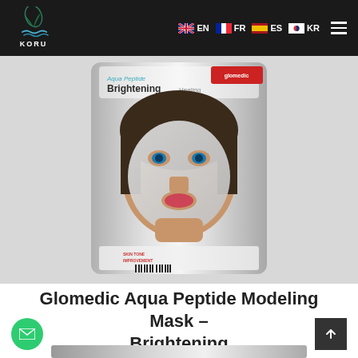Koru Pharma — EN FR ES KR navigation header
[Figure (photo): Glomedic Aqua Peptide Brightening Modeling Mask product package showing a woman wearing a silver metallic face mask]
Glomedic Aqua Peptide Modeling Mask – Brightening
[Figure (photo): Bottom partial view of another product package in silver metallic foil]